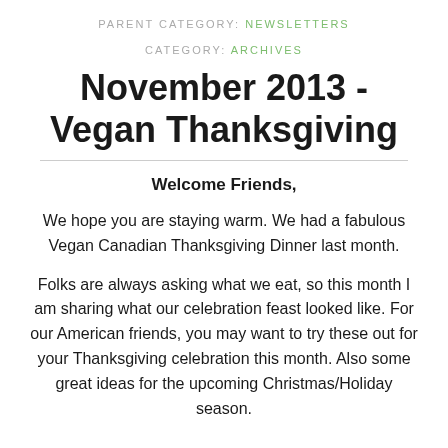PARENT CATEGORY: NEWSLETTERS
CATEGORY: ARCHIVES
November 2013 - Vegan Thanksgiving
Welcome Friends,
We hope you are staying warm. We had a fabulous Vegan Canadian Thanksgiving Dinner last month.
Folks are always asking what we eat, so this month I am sharing what our celebration feast looked like. For our American friends, you may want to try these out for your Thanksgiving celebration this month. Also some great ideas for the upcoming Christmas/Holiday season.